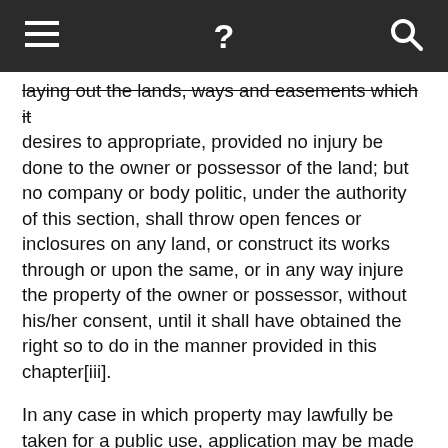☰  ?  🔍
laying out the lands, ways and easements which it desires to appropriate, provided no injury be done to the owner or possessor of the land; but no company or body politic, under the authority of this section, shall throw open fences or inclosures on any land, or construct its works through or upon the same, or in any way injure the property of the owner or possessor, without his/her consent, until it shall have obtained the right so to do in the manner provided in this chapter[iii].
In any case in which property may lawfully be taken for a public use, application may be made by petition to the circuit court or the judge thereof in vacation, of the county in which the estate is situated, to appoint commissioners to ascertain a just compensation to the owners of the estate proposed to be taken.  If a tract lies partly in one county and partly in another, the application